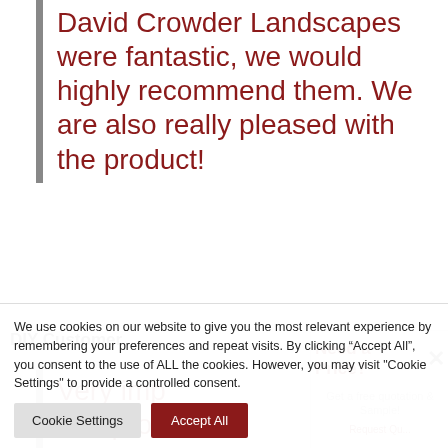David Crowder Landscapes were fantastic, we would highly recommend them. We are also really pleased with the product!
DIY Customer
Very imp... and proc... learning...
Need a Price? ×
Get a free quotation & Sample!
We use cookies on our website to give you the most relevant experience by remembering your preferences and repeat visits. By clicking “Accept All”, you consent to the use of ALL the cookies. However, you may visit "Cookie Settings" to provide a controlled consent.
Cookie Settings
Accept All